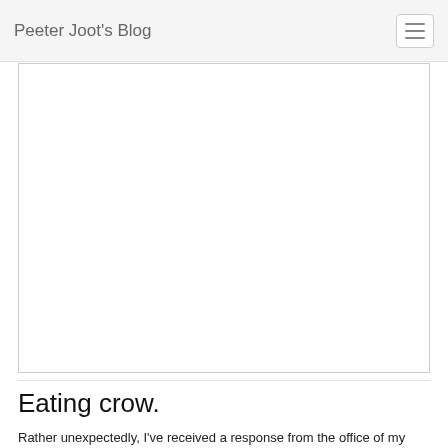Peeter Joot's Blog
[Figure (other): White rectangular image/content placeholder area with a light border]
Eating crow.
Rather unexpectedly, I've received a response from the office of my parliamentary representative John McCallum for my questions